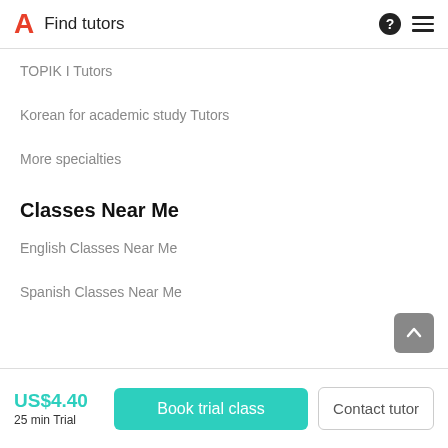Find tutors
TOPIK I Tutors
Korean for academic study Tutors
More specialties
Classes Near Me
English Classes Near Me
Spanish Classes Near Me
US$4.40 25 min Trial | Book trial class | Contact tutor